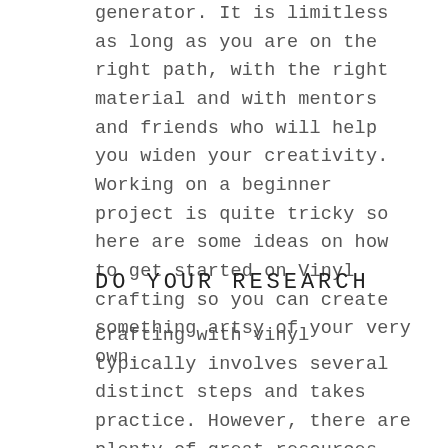generator. It is limitless as long as you are on the right path, with the right material and with mentors and friends who will help you widen your creativity. Working on a beginner project is quite tricky so here are some ideas on how to get started on Vinyl crafting so you can create something artsy of your very own.
DO YOUR RESEARCH
Crafting with vinyl typically involves several distinct steps and takes practice. However, there are plenty of great resources that can give you tips on how to work with Vinyl. For starters the internet is overflowing with information for you to research on — do's and don'ts,